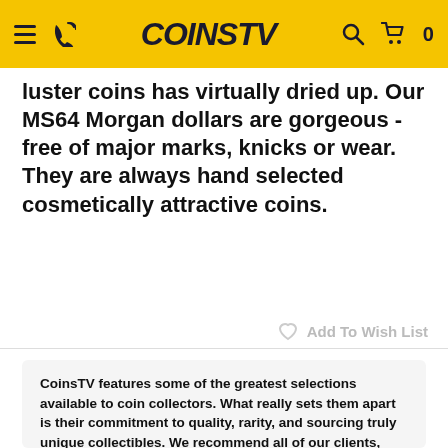COINS TV
luster coins has virtually dried up. Our MS64 Morgan dollars are gorgeous - free of major marks, knicks or wear. They are always hand selected cosmetically attractive coins.
Add To Wish List
CoinsTV features some of the greatest selections available to coin collectors. What really sets them apart is their commitment to quality, rarity, and sourcing truly unique collectibles. We recommend all of our clients, friends, and family shop there - and you should too.
[Figure (logo): MarketWatch logo in italic serif font, 'Market' in black and 'Watch' in green]